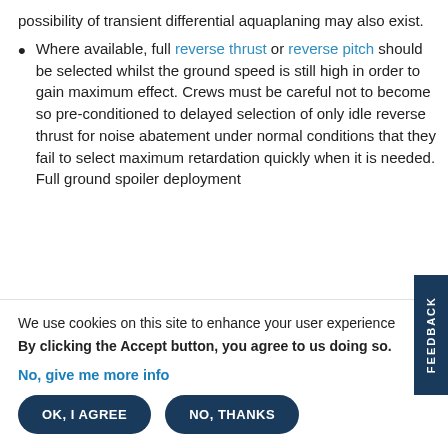possibility of transient differential aquaplaning may also exist.
Where available, full reverse thrust or reverse pitch should be selected whilst the ground speed is still high in order to gain maximum effect. Crews must be careful not to become so pre-conditioned to delayed selection of only idle reverse thrust for noise abatement under normal conditions that they fail to select maximum retardation quickly when it is needed. Full ground spoiler deployment
We use cookies on this site to enhance your user experience
By clicking the Accept button, you agree to us doing so.
No, give me more info